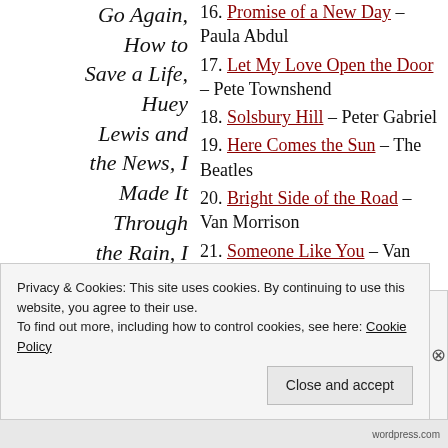Go Again, How to Save a Life, Huey Lewis and the News, I Made It Through the Rain, I will Always
16. Promise of a New Day – Paula Abdul
17. Let My Love Open the Door – Pete Townshend
18. Solsbury Hill – Peter Gabriel
19. Here Comes the Sun – The Beatles
20. Bright Side of the Road – Van Morrison
21. Someone Like You – Van Morrison
22. Incomplete – Alanis Morrisette
23. There You'll Be – Faith Hill
Privacy & Cookies: This site uses cookies. By continuing to use this website, you agree to their use. To find out more, including how to control cookies, see here: Cookie Policy
Close and accept